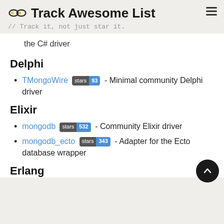Track Awesome List // Track it, not just star it.
the C# driver
Delphi
TMongoWire stars 93 - Minimal community Delphi driver
Elixir
mongodb stars 532 - Community Elixir driver
mongodb_ecto stars 343 - Adapter for the Ecto database wrapper
Erlang